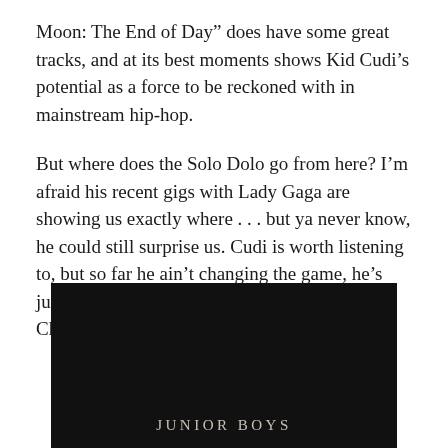Moon: The End of Day” does have some great tracks, and at its best moments shows Kid Cudi’s potential as a force to be reckoned with in mainstream hip-hop.
But where does the Solo Dolo go from here? I’m afraid his recent gigs with Lady Gaga are showing us exactly where . . . but ya never know, he could still surprise us. Cudi is worth listening to, but so far he ain’t changing the game, he’s just going along with it. At least I discovered Chip Tha Ripper because of this album.
[Figure (other): Dark/black album cover image with text 'JUNIOR BOYS' in spaced serif letters at the bottom center]